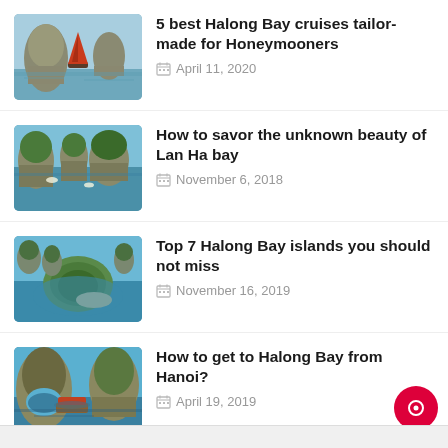5 best Halong Bay cruises tailor-made for Honeymooners
How to savor the unknown beauty of Lan Ha bay
Top 7 Halong Bay islands you should not miss
How to get to Halong Bay from Hanoi?